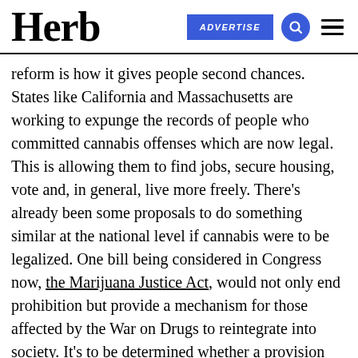Herb | ADVERTISE
reform is how it gives people second chances. States like California and Massachusetts are working to expunge the records of people who committed cannabis offenses which are now legal. This is allowing them to find jobs, secure housing, vote and, in general, live more freely. There's already been some proposals to do something similar at the national level if cannabis were to be legalized. One bill being considered in Congress now, the Marijuana Justice Act, would not only end prohibition but provide a mechanism for those affected by the War on Drugs to reintegrate into society. It's to be determined whether a provision like this will make it into the final bill that ends prohibition in the U.S., but the fact that this conversation is happening now is an important indication that lawmakers are looking to correct the wrongs of the past – not just bury them and move